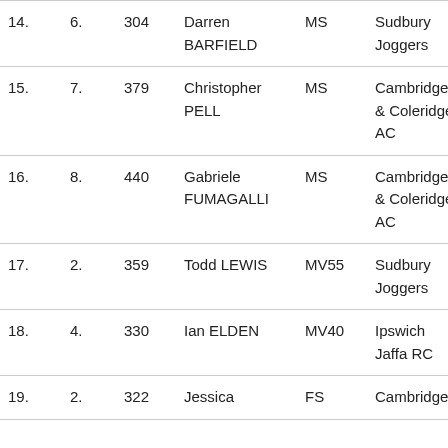| Pos | Cat Pos | Bib | Name | Cat | Club | Time |
| --- | --- | --- | --- | --- | --- | --- |
| 14. | 6. | 304 | Darren BARFIELD | MS | Sudbury Joggers | 1:0… |
| 15. | 7. | 379 | Christopher PELL | MS | Cambridge & Coleridge AC | 1:0… |
| 16. | 8. | 440 | Gabriele FUMAGALLI | MS | Cambridge & Coleridge AC | 1:0… |
| 17. | 2. | 359 | Todd LEWIS | MV55 | Sudbury Joggers | 1:0… |
| 18. | 4. | 330 | Ian ELDEN | MV40 | Ipswich Jaffa RC | 1:0… |
| 19. | 2. | 322 | Jessica | FS | Cambridge | 1:0… |